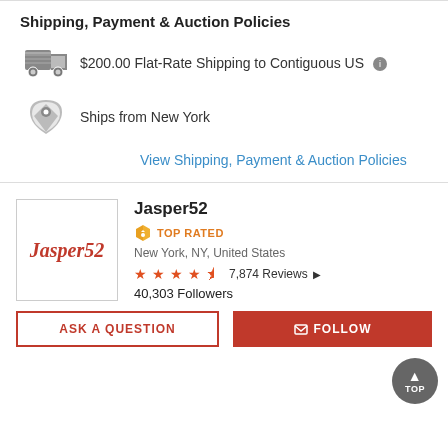Shipping, Payment & Auction Policies
$200.00 Flat-Rate Shipping to Contiguous US
Ships from New York
View Shipping, Payment & Auction Policies
Jasper52
TOP RATED
New York, NY, United States
7,874 Reviews
40,303 Followers
ASK A QUESTION
FOLLOW